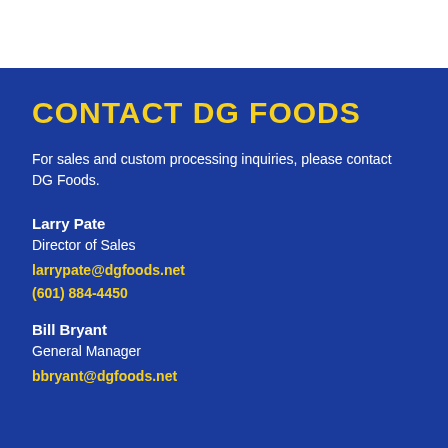CONTACT DG FOODS
For sales and custom processing inquiries, please contact DG Foods.
Larry Pate
Director of Sales
larrypate@dgfoods.net
(601) 884-4450
Bill Bryant
General Manager
bbryant@dgfoods.net